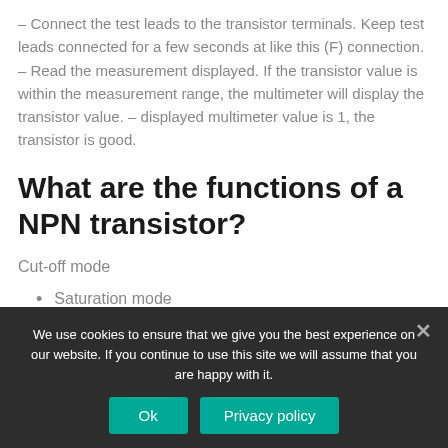– Connect the test leads to the transistor terminals. Keep test leads connected for a few seconds at like this (F) connection. – Read the measurement displayed. If the transistor value is within the measurement range, the multimeter will display the transistor value. – displayed multimeter value is 1, the transistor is good.
What are the functions of a NPN transistor?
Cut-off mode
Saturation mode
We use cookies to ensure that we give you the best experience on our website. If you continue to use this site we will assume that you are happy with it.